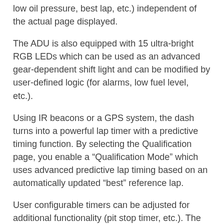low oil pressure, best lap, etc.) independent of the actual page displayed.
The ADU is also equipped with 15 ultra-bright RGB LEDs which can be used as an advanced gear-dependent shift light and can be modified by user-defined logic (for alarms, low fuel level, etc.).
Using IR beacons or a GPS system, the dash turns into a powerful lap timer with a predictive timing function. By selecting the Qualification page, you enable a “Qualification Mode” which uses advanced predictive lap timing based on an automatically updated “best” reference lap.
User configurable timers can be adjusted for additional functionality (pit stop timer, etc.). The ADU also supports thermal cameras for monitoring brake discs or tyre temperatures (up to 16 points per tyre).
Communication with other devices in the car is provided via two built-in, independent CAN-BUS communication ports.